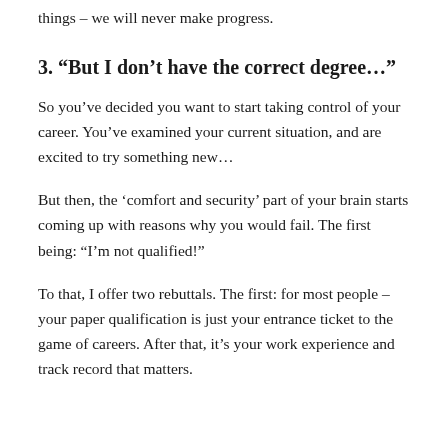things – we will never make progress.
3. “But I don’t have the correct degree…”
So you’ve decided you want to start taking control of your career. You’ve examined your current situation, and are excited to try something new…
But then, the ‘comfort and security’ part of your brain starts coming up with reasons why you would fail. The first being: “I’m not qualified!”
To that, I offer two rebuttals. The first: for most people – your paper qualification is just your entrance ticket to the game of careers. After that, it’s your work experience and track record that matters.